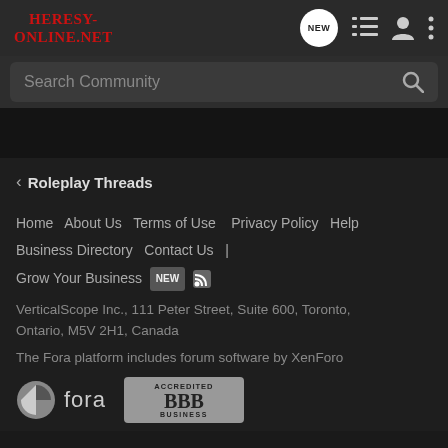Heresy-Online.net
Search Community
< Roleplay Threads
Home   About Us   Terms of Use   Privacy Policy   Help   Business Directory   Contact Us   |   Grow Your Business  NEW  RSS   VerticalScope Inc., 111 Peter Street, Suite 600, Toronto, Ontario, M5V 2H1, Canada   The Fora platform includes forum software by XenForo
[Figure (logo): Fora platform logo with stylized icon and 'fora' wordmark]
[Figure (logo): BBB Accredited Business badge]